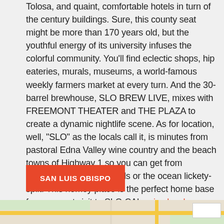Tolosa, and quaint, comfortable hotels in turn of the century buildings. Sure, this county seat might be more than 170 years old, but the youthful energy of its university infuses the colorful community. You'll find eclectic shops, hip eateries, murals, museums, a world-famous weekly farmers market at every turn. And the 30-barrel brewhouse, SLO BREW LIVE, mixes with FREEMONT THEATER and THE PLAZA to create a dynamic nightlife scene. As for location, well, "SLO" as the locals call it, is minutes from pastoral Edna Valley wine country and the beach towns of Highway 1 so you can get from downtown to the vineyards or the ocean lickety-split. This homey place is the perfect home base for your next visit to SLO CAL. via slocal.com
SAN LUIS OBISPO
[Figure (map): Partial Google Maps view showing San Luis Obispo area with roads and green areas]